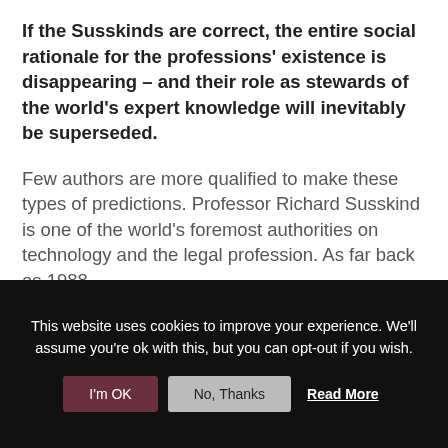If the Susskinds are correct, the entire social rationale for the professions' existence is disappearing – and their role as stewards of the world's expert knowledge will inevitably be superseded.
Few authors are more qualified to make these types of predictions.  Professor Richard Susskind is one of the world's foremost authorities on technology and the legal profession. As far back as 1988
This website uses cookies to improve your experience. We'll assume you're ok with this, but you can opt-out if you wish.